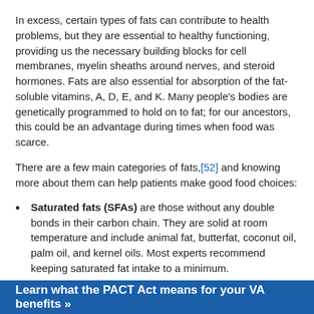In excess, certain types of fats can contribute to health problems, but they are essential to healthy functioning, providing us the necessary building blocks for cell membranes, myelin sheaths around nerves, and steroid hormones. Fats are also essential for absorption of the fat-soluble vitamins, A, D, E, and K. Many people's bodies are genetically programmed to hold on to fat; for our ancestors, this could be an advantage during times when food was scarce.
There are a few main categories of fats,[52] and knowing more about them can help patients make good food choices:
Saturated fats (SFAs) are those without any double bonds in their carbon chain. They are solid at room temperature and include animal fat, butterfat, coconut oil, palm oil, and kernel oils. Most experts recommend keeping saturated fat intake to a minimum.
Monounsaturated fats (MUFAs) are liquid at room temperature and found in avocado, peanut, olive, and canola oils. They have one double bond in their carbon chain.
Polyunsaturated fatty acids (PUFAs) are also liquid at room
Learn what the PACT Act means for your VA benefits »